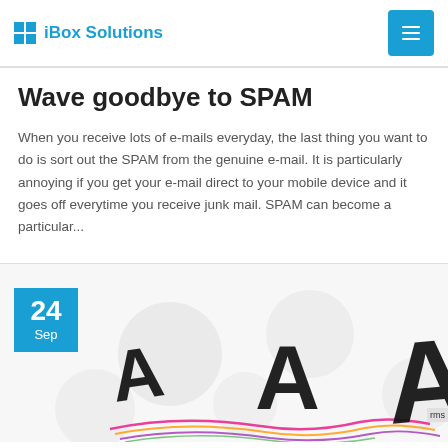iBox Solutions
Wave goodbye to SPAM
When you receive lots of e-mails everyday, the last thing you want to do is sort out the SPAM from the genuine e-mail. It is particularly annoying if you get your e-mail direct to your mobile device and it goes off everytime you receive junk mail. SPAM can become a particular...
[Figure (illustration): Decorative typography image showing large letter 'A' characters in varying sizes with colorful swirls, alongside a date badge showing '24 Sep' on a blue square background.]